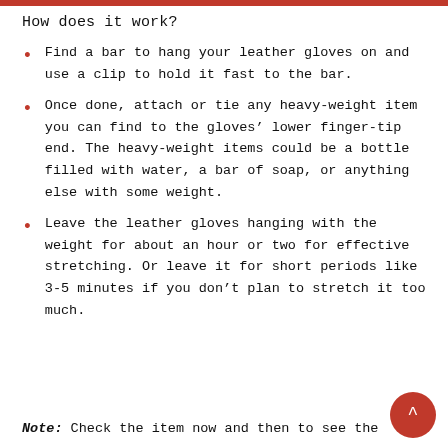How does it work?
Find a bar to hang your leather gloves on and use a clip to hold it fast to the bar.
Once done, attach or tie any heavy-weight item you can find to the gloves’ lower finger-tip end. The heavy-weight items could be a bottle filled with water, a bar of soap, or anything else with some weight.
Leave the leather gloves hanging with the weight for about an hour or two for effective stretching. Or leave it for short periods like 3-5 minutes if you don’t plan to stretch it too much.
Note: Check the item now and then to see the stretching progress, to guide you for next stretching